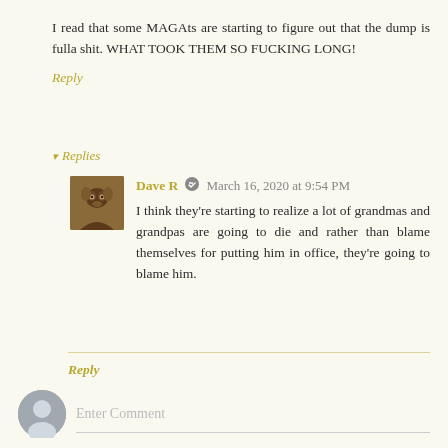I read that some MAGAts are starting to figure out that the dump is fulla shit. WHAT TOOK THEM SO FUCKING LONG!
Reply
▾ Replies
Dave R  March 16, 2020 at 9:54 PM
I think they're starting to realize a lot of grandmas and grandpas are going to die and rather than blame themselves for putting him in office, they're going to blame him.
Reply
Enter Comment